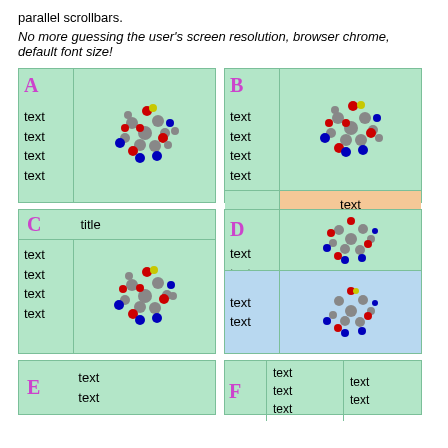parallel scrollbars.
No more guessing the user's screen resolution, browser chrome, default font size!
[Figure (schematic): Panel A: two-column layout with label A, text (text x4) on left, molecule cluster on right, green background]
[Figure (schematic): Panel B: two-column layout with label B, text (text x4) on left, molecule cluster on right (green), orange footer row with text]
[Figure (schematic): Panel C: title row spanning columns with label C and 'title', then text (text x4) on left and molecule on right]
[Figure (schematic): Panel D: label D with text/text top-left, molecule top-right (green), blue bottom row with text/text left and molecule right]
[Figure (schematic): Panel E: label E with text/text center]
[Figure (schematic): Panel F: label F, then text/text/text column, then text/text column]